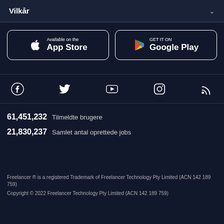Vilkår
[Figure (logo): Available on the App Store button]
[Figure (logo): GET IT ON Google Play button]
[Figure (infographic): Social media icons row: Facebook, Twitter, YouTube, Instagram, RSS]
61,451,232  Tilmeldte brugere
21,830,237  Samlet antal oprettede jobs
Freelancer ® is a registered Trademark of Freelancer Technology Pty Limited (ACN 142 189 759)
Copyright © 2022 Freelancer Technology Pty Limited (ACN 142 189 759)